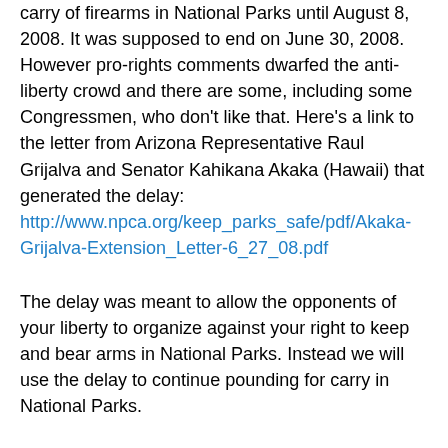carry of firearms in National Parks until August 8, 2008. It was supposed to end on June 30, 2008. However pro-rights comments dwarfed the anti-liberty crowd and there are some, including some Congressmen, who don't like that. Here's a link to the letter from Arizona Representative Raul Grijalva and Senator Kahikana Akaka (Hawaii) that generated the delay: http://www.npca.org/keep_parks_safe/pdf/Akaka-Grijalva-Extension_Letter-6_27_08.pdf
The delay was meant to allow the opponents of your liberty to organize against your right to keep and bear arms in National Parks. Instead we will use the delay to continue pounding for carry in National Parks.
Spread this alert item on the Internet far and wide so we can get more and more gun owners to send in their comments. If we do that and drive our numbers up, we can continue to bury the other side with pro-liberty comments! If you have